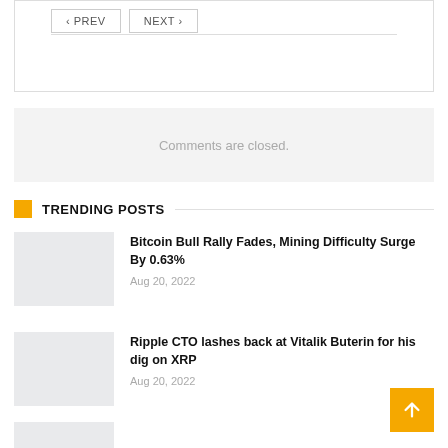PREV  NEXT
Comments are closed.
TRENDING POSTS
Bitcoin Bull Rally Fades, Mining Difficulty Surge By 0.63%
Aug 20, 2022
Ripple CTO lashes back at Vitalik Buterin for his dig on XRP
Aug 20, 2022
How Will Carol...